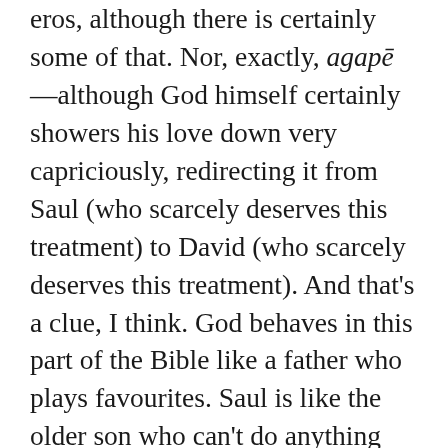eros, although there is certainly some of that. Nor, exactly, agapē—although God himself certainly showers his love down very capriciously, redirecting it from Saul (who scarcely deserves this treatment) to David (who scarcely deserves this treatment). And that's a clue, I think. God behaves in this part of the Bible like a father who plays favourites. Saul is like the older son who can't do anything right; David, the younger one who can't do anything wrong. Learning from Him, the fathers in this